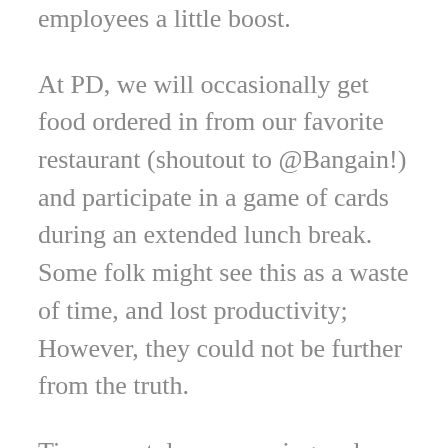employees a little boost.
At PD, we will occasionally get food ordered in from our favorite restaurant (shoutout to @Bangain!) and participate in a game of cards during an extended lunch break. Some folk might see this as a waste of time, and lost productivity; However, they could not be further from the truth.
Time spent decompressing and being treated well gives us a sense of security. It is a lot easier to focus on work when we are allowed to take a moment to see the world isn't falling apart. To see that, right here, right